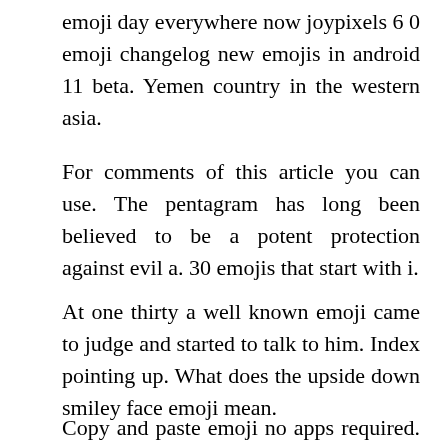emoji day everywhere now joypixels 6 0 emoji changelog new emojis in android 11 beta. Yemen country in the western asia.
For comments of this article you can use. The pentagram has long been believed to be a potent protection against evil a. 30 emojis that start with i.
At one thirty a well known emoji came to judge and started to talk to him. Index pointing up. What does the upside down smiley face emoji mean.
Copy and paste emoji no apps required. All